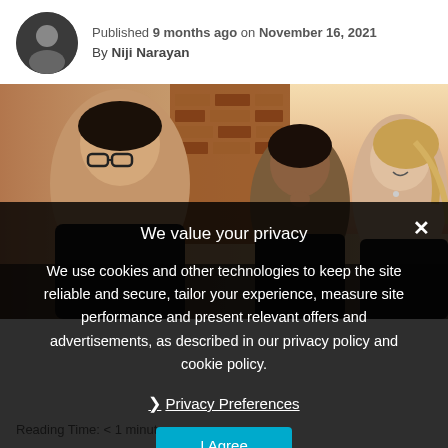Published 9 months ago on November 16, 2021
By Niji Narayan
[Figure (photo): Three women in a professional/office setting, appearing to be in a meeting or discussion. A brick wall and window with city view in background.]
We value your privacy
We use cookies and other technologies to keep the site reliable and secure, tailor your experience, measure site performance and present relevant offers and advertisements, as described in our privacy policy and cookie policy.
Privacy Preferences
I Agree
Reading Time: < 1 minute